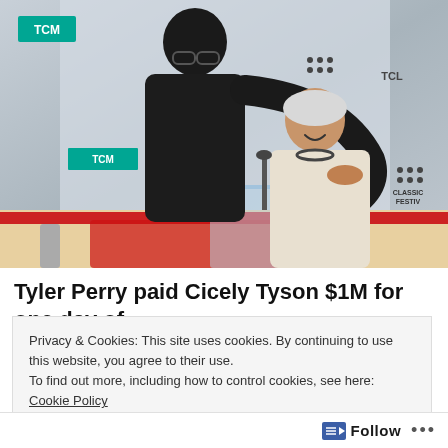[Figure (photo): Tyler Perry hugging Cicely Tyson at a TCM Classic Film Festival event, with a blue and white step-and-repeat backdrop featuring TCM and TCL logos.]
Tyler Perry paid Cicely Tyson $1M for one day of
Privacy & Cookies: This site uses cookies. By continuing to use this website, you agree to their use.
To find out more, including how to control cookies, see here: Cookie Policy
Close and accept
Follow ...